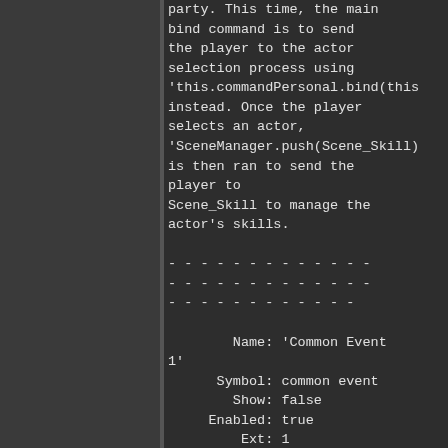party. This time, the main bind command is to send the player to the actor selection process using 'this.commandPersonal.bind(this instead. Once the player selects an actor, 'SceneManager.push(Scene_Skill) is then ran to send the player to Scene_Skill to manage the actor's skills.

- - - - - - - - - - - - -
- - - - - - - - - - - - -
- - - - - - - - - - - - -

        Name: 'Common Event 1'
      Symbol: common event
        Show: false
     Enabled: true
         Ext: 1
   Main Bind:
this.callCommonEvent.bind(this